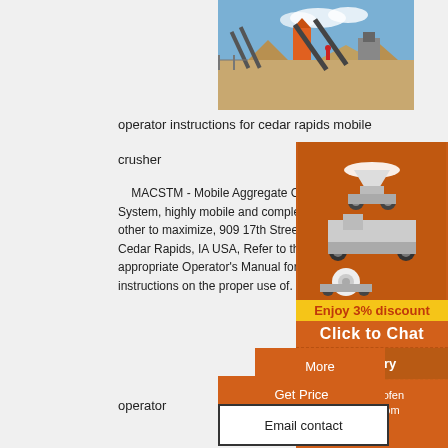[Figure (photo): Industrial mining/crushing plant site with conveyor belts, cone crusher, and piles of aggregate material outdoors]
operator instructions for cedar rapids mobile
crusher
MACSTM - Mobile Aggregate Crushing System, highly mobile and complement other to maximize, 909 17th Street NE, Cedar Rapids, IA USA, Refer to the appropriate Operator's Manual for instructions on the proper use of.
[Figure (photo): Orange sidebar advertisement showing multiple crushing/mining machines (cone crusher, jaw crusher, mobile crusher) with text 'Enjoy 3% discount', 'Click to Chat', 'Enquiry', 'limingjlmofen@sina.com']
More
Get Price
Email contact
operator